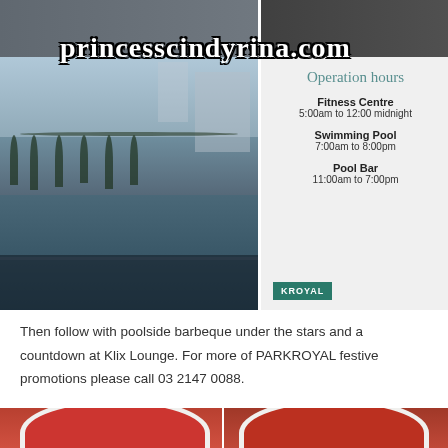[Figure (photo): Top collage: outdoor pool area photos and hotel operation hours sign with PARKROYAL branding. Watermark reads princesscindyrina.com]
Then follow with poolside barbeque under the stars and a countdown at Klix Lounge. For more of PARKROYAL festive promotions please call 03 2147 0088.
[Figure (photo): Bottom collage: two photos showing people wearing red and white Santa hats]